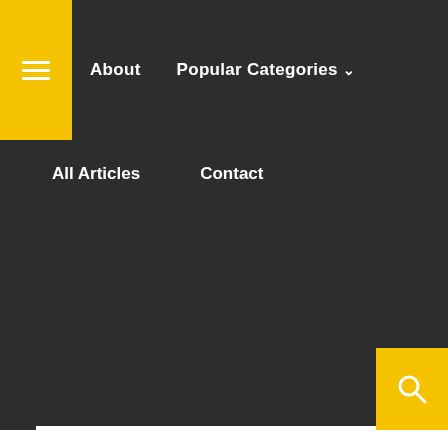About  Popular Categories  All Articles  Contact
EXPERIENCES, NEUROSCIENCE, NIBIRU, PARALLEL UNIVERSE, PINEAL GLAND, PLACEBO EFFECT, PLANET X, QUANTUM PHYSICS, REINCARNATION, SIMULATION THEORY, SIRIUS, SPACE, SPACETIME, STEM CELL RESEARCH, SUBCONSCIOUS MIND, SUMER, SUMERIANS, SYNCHRONICITY, THE BIG BANG, THE GREAT PYRAMID OF GIZA, THE ILLUMINATI, THE UNIVERSE, THIRD EYE, TWO SLIT EXPERIMENT, VIBES, VIBRATION, VISUALIZATION TAGGED 5TH DIMENSION, ANCIENT